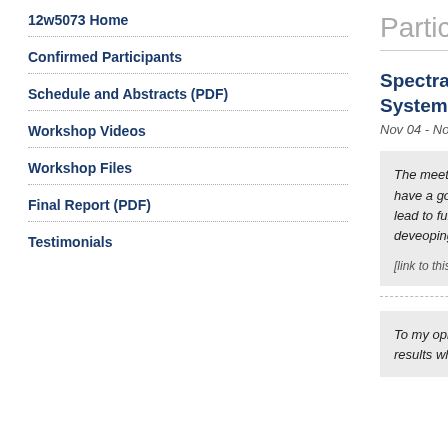12w5073 Home
Confirmed Participants
Schedule and Abstracts (PDF)
Workshop Videos
Workshop Files
Final Report (PDF)
Testimonials
Participant
Spectral Analysis Systems
Nov 04 - Nov 09,
The meeting have a good lead to furth deveoping hi
[link to this testimon
To my opinio results whic